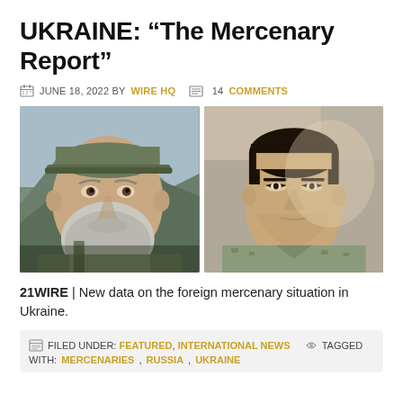UKRAINE: “The Mercenary Report”
JUNE 18, 2022 BY WIRE HQ  14 COMMENTS
[Figure (photo): Two side-by-side portrait photos: left shows a white man with a full grey beard wearing a camo cap and olive jacket in an outdoor mountain setting; right shows a young Asian man in military uniform with a short haircut.]
21WIRE | New data on the foreign mercenary situation in Ukraine.
FILED UNDER: FEATURED, INTERNATIONAL NEWS  TAGGED WITH: MERCENARIES, RUSSIA, UKRAINE